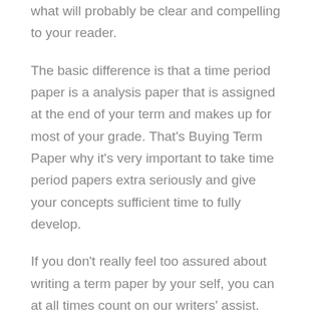what will probably be clear and compelling to your reader.
The basic difference is that a time period paper is a analysis paper that is assigned at the end of your term and makes up for most of your grade. That's Buying Term Paper why it's very important to take time period papers extra seriously and give your concepts sufficient time to fully develop.
If you don't really feel too assured about writing a term paper by your self, you can at all times count on our writers' assist. Assessment, proofread and proper. Take time to look Buy Term Paper by means of your define a few times. Don't hesitate to make modifications. The extra you attempt to improve